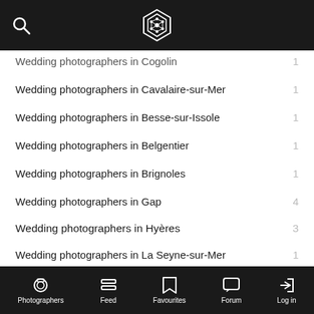MyWed logo header with search icon
Wedding photographers in Cogolin  1
Wedding photographers in Cavalaire-sur-Mer  1
Wedding photographers in Besse-sur-Issole  1
Wedding photographers in Belgentier  1
Wedding photographers in Brignoles  1
Wedding photographers in Gap  4
Wedding photographers in Hyères  3
Wedding photographers in La Seyne-sur-Mer  1
Wedding photographers in Sanary-sur-Mer  1
Terms  Advertising  Contact us  MyWed logos
Photographers  Feed  Favourites  Forum  Log in